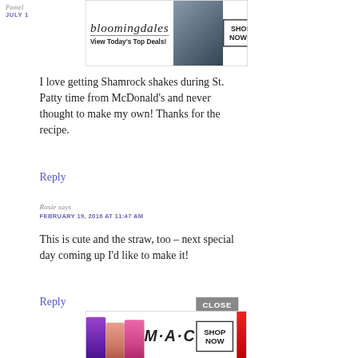[Figure (screenshot): Bloomingdale's advertisement banner: 'View Today's Top Deals! SHOP NOW >' with fashion model wearing hat]
Pamel
JULY 1
I love getting Shamrock shakes during St. Patty time from McDonald's and never thought to make my own! Thanks for the recipe.
Reply
Rosie says
FEBRUARY 19, 2016 AT 11:47 AM
This is cute and the straw, too – next special day coming up I'd like to make it!
Reply
[Figure (screenshot): MAC cosmetics advertisement with lipsticks and 'SHOP NOW' button. CLOSE button visible.]